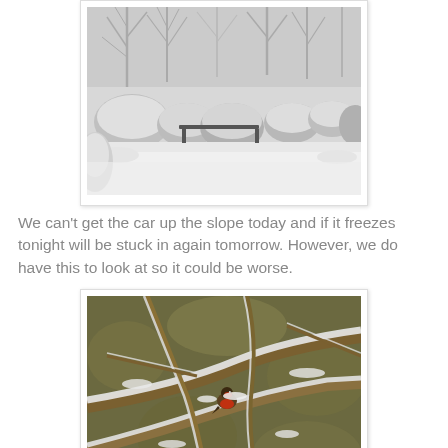[Figure (photo): A snow-covered garden scene with bare trees, snow-laden bushes and shrubs, and white snow blanketing the ground. The scene is viewed from indoors or from close by, showing a wintry backyard.]
We can't get the car up the slope today and if it freezes tonight will be stuck in again tomorrow. However, we do have this to look at so it could be worse.
[Figure (photo): Close-up of snow-covered tree branches with a small red bird (robin) perched among the branches, surrounded by white snow clinging to the twigs.]